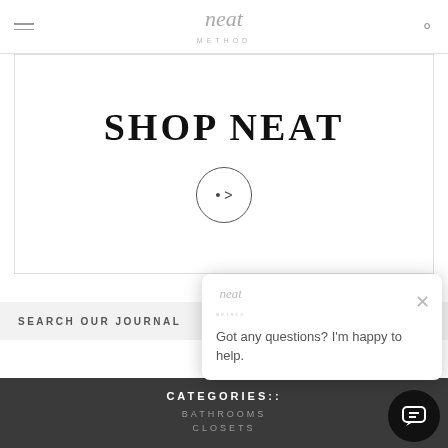neat METHOD
SHOP NEAT
SEARCH OUR JOURNAL
CATEGORIES::
BATHROOMS
CLOSETS
[Figure (screenshot): Chat popup with text: Got any questions? I'm happy to help.]